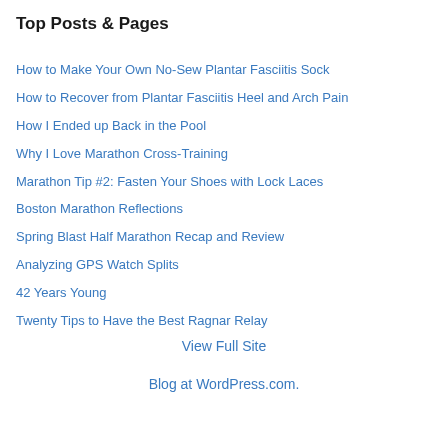Top Posts & Pages
How to Make Your Own No-Sew Plantar Fasciitis Sock
How to Recover from Plantar Fasciitis Heel and Arch Pain
How I Ended up Back in the Pool
Why I Love Marathon Cross-Training
Marathon Tip #2: Fasten Your Shoes with Lock Laces
Boston Marathon Reflections
Spring Blast Half Marathon Recap and Review
Analyzing GPS Watch Splits
42 Years Young
Twenty Tips to Have the Best Ragnar Relay
View Full Site
Blog at WordPress.com.